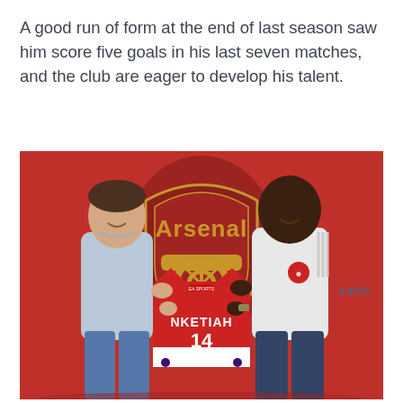A good run of form at the end of last season saw him score five goals in his last seven matches, and the club are eager to develop his talent.
[Figure (photo): Two men standing in front of an Arsenal FC crest on a red wall. The man on the left wears a light blue shirt and jeans. The man on the right wears an Arsenal white training kit. Between them they hold up a red Arsenal jersey with 'NKETIAH' and the number 14 on the back.]